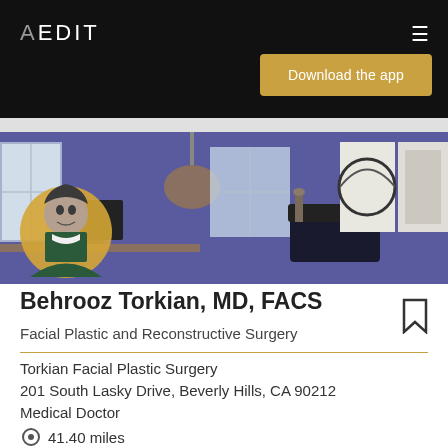AEDIT
Download the app
[Figure (photo): Doctor profile photo (circular) overlaid on blue-walled office interior with artwork and lamp]
Behrooz Torkian, MD, FACS
Facial Plastic and Reconstructive Surgery
Torkian Facial Plastic Surgery
201 South Lasky Drive, Beverly Hills, CA 90212
Medical Doctor
41.40 miles